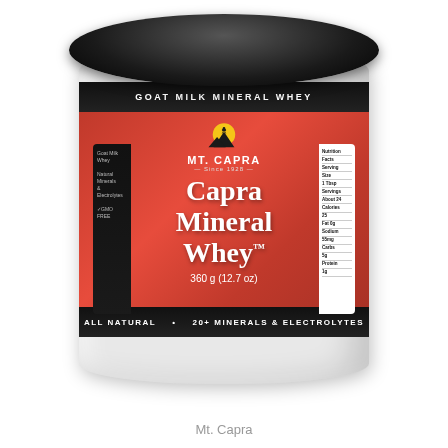[Figure (photo): Product photo of Mt. Capra Capra Mineral Whey supplement jar, 360g (12.7 oz). White plastic jar with black lid, red label showing brand logo with sun and mountain silhouette, product name in white serif font, weight, and claims: All Natural, 20+ Minerals & Electrolytes, Goat Milk Mineral Whey.]
Mt. Capra